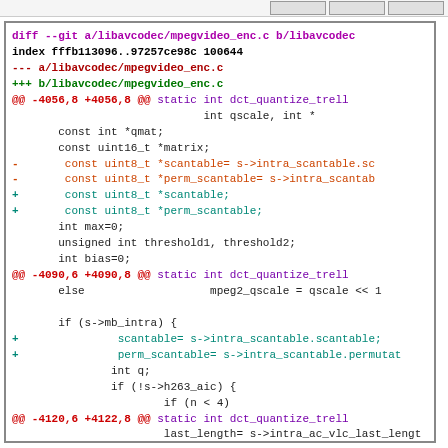[Figure (screenshot): Top navigation bar with three button/tab elements in the upper right]
diff --git a/libavcodec/mpegvideo_enc.c b/libavcodec/mpegvideo_enc.c
index fffb113096..97257ce98c 100644
--- a/libavcodec/mpegvideo_enc.c
+++ b/libavcodec/mpegvideo_enc.c
@@ -4056,8 +4056,8 @@  static int dct_quantize_trell
                              int qscale, int *
        const int *qmat;
        const uint16_t *matrix;
-       const uint8_t *scantable= s->intra_scantable.sc
-       const uint8_t *perm_scantable= s->intra_scantab
+       const uint8_t *scantable;
+       const uint8_t *perm_scantable;
        int max=0;
        unsigned int threshold1, threshold2;
        int bias=0;
@@ -4090,6 +4090,8 @@  static int dct_quantize_trell
        else                   mpeg2_qscale = qscale << 1

        if (s->mb_intra) {
+               scantable= s->intra_scantable.scantable;
+               perm_scantable= s->intra_scantable.permutat
               int q;
               if (!s->h263_aic) {
                       if (n < 4)
@@ -4120,6 +4122,8 @@  static int dct_quantize_trell
                       last_length= s->intra_ac_vlc_last_lengt
               }
        } else {
+               scantable= s->inter_scantable.scantable;